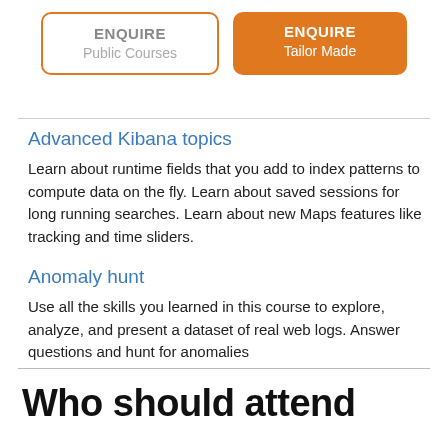[Figure (other): Two buttons side by side: 'ENQUIRE Public Courses' (outlined orange border) and 'ENQUIRE Tailor Made' (solid orange background)]
Advanced Kibana topics
Learn about runtime fields that you add to index patterns to compute data on the fly. Learn about saved sessions for long running searches. Learn about new Maps features like tracking and time sliders.
Anomaly hunt
Use all the skills you learned in this course to explore, analyze, and present a dataset of real web logs. Answer questions and hunt for anomalies
Who should attend